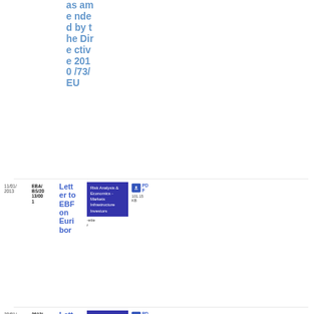as amended by the Directive 2010/73/EU
| Date | Reference | Title | Tag | Gazette | PDF |
| --- | --- | --- | --- | --- | --- |
| 11/01/2013 | EBA/BS/2013/001 | Letter to EBF on Euribor | Risk Analysis & Economics - Markets Infrastructure Investors | -ette
r | PDF
101.15 KB |
| 30/01/2013 | 2013/103 | Letter to the | Corporate Disclosure | -uette
p | PDF
18 |